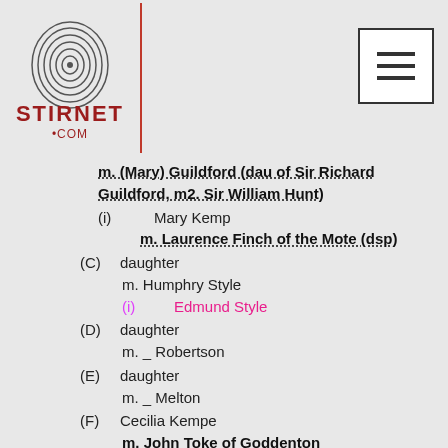[Figure (logo): Stirnet.com fingerprint logo with red text]
m. (Mary) Guildford (dau of Sir Richard Guildford, m2. Sir William Hunt)
(i)   Mary Kemp
m. Laurence Finch of the Mote (dsp)
(C) daughter
m. Humphry Style
(i)   Edmund Style
(D) daughter
m. _ Robertson
(E) daughter
m. _ Melton
(F) Cecilia Kempe
m. John Toke of Goddenton
(G)+other issue - Richard, John (a 1541), Andrew, Edward, George
b. Thomas Kempe, Bishop of London (d 28.03.1489)
iii. Isabel Kemp apparently of this generation
m. Sir Robert Strelley of Strelley